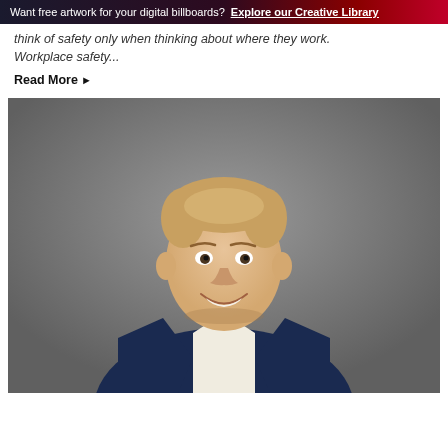Want free artwork for your digital billboards? Explore our Creative Library
think of safety only when thinking about where they work. Workplace safety...
Read More ▶
[Figure (photo): Professional headshot of a smiling man with short blonde hair wearing a navy blue blazer over a white shirt, photographed against a grey background]